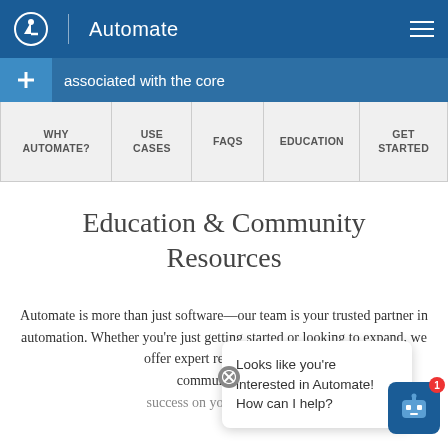Automate
[Figure (screenshot): Navigation banner with blue background showing '+ associated with the core' text]
WHY AUTOMATE? | USE CASES | FAQS | EDUCATION | GET STARTED
Education & Community Resources
Automate is more than just software—our team is your trusted partner in automation. Whether you're just getting started or looking to expand, we offer expert resources... including community-... success on your AI journey.
Looks like you're interested in Automate! How can I help?